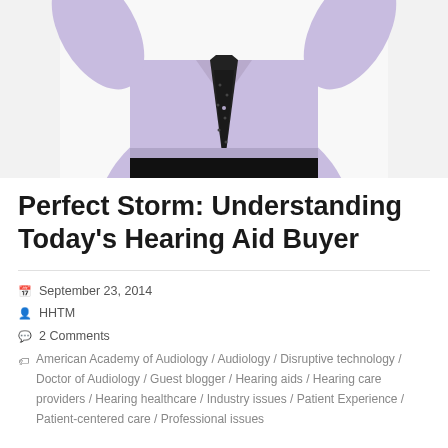[Figure (photo): A man in a light purple/lavender dress shirt and dark patterned tie, with his hands raised behind his head, photographed from mid-torso up against a white background. Only the torso and raised arms are visible, head is cropped out.]
Perfect Storm: Understanding Today's Hearing Aid Buyer
September 23, 2014
HHTM
2 Comments
American Academy of Audiology / Audiology / Disruptive technology / Doctor of Audiology / Guest blogger / Hearing aids / Hearing care providers / Hearing healthcare / Industry issues / Patient Experience / Patient-centered care / Professional issues